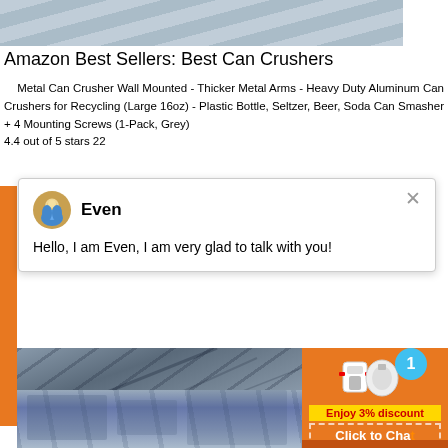[Figure (photo): Top portion of an industrial or architectural image, light gray tones]
Amazon Best Sellers: Best Can Crushers
Metal Can Crusher Wall Mounted - Thicker Metal Arms - Heavy Duty Aluminum Can Crushers for Recycling (Large 16oz) - Plastic Bottle, Seltzer, Beer, Soda Can Smasher + 4 Mounting Screws (1-Pack, Grey) 4.4 out of 5 stars 22
[Figure (screenshot): Chat popup with avatar of 'Even', message: Hello, I am Even, I am very glad to talk with you!]
[Figure (photo): Industrial machinery or mining equipment photo]
[Figure (infographic): Orange advertisement panel with product image, badge '1', 'Enjoy 3% discount', 'Click to Chat' and 'Enquiry' button]